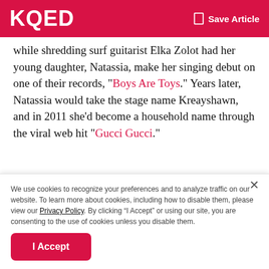KQED   Save Article
while shredding surf guitarist Elka Zolot had her young daughter, Natassia, make her singing debut on one of their records, "Boys Are Toys." Years later, Natassia would take the stage name Kreayshawn, and in 2011 she'd become a household name through the viral web hit "Gucci Gucci."
Raooul
[Figure (other): Dark black horizontal bar, likely an image placeholder]
We use cookies to recognize your preferences and to analyze traffic on our website. To learn more about cookies, including how to disable them, please view our Privacy Policy. By clicking “I Accept” or using our site, you are consenting to the use of cookies unless you disable them.